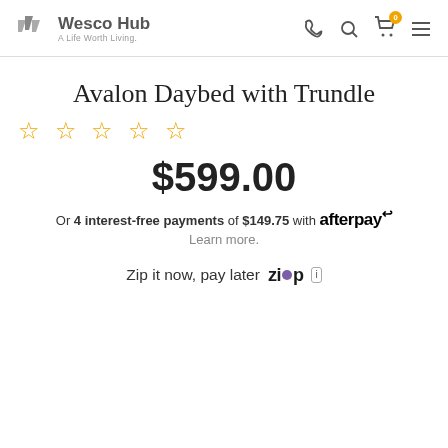Wesco Hub – A Life Worth Living.
Avalon Daybed with Trundle
☆☆☆☆☆
$599.00
Or 4 interest-free payments of $149.75 with afterpay
Learn more.
Zip it now, pay later  ZIP